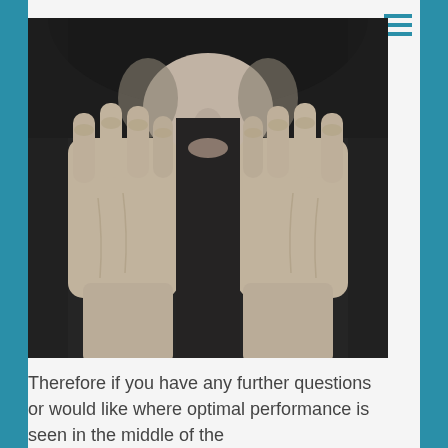[Figure (photo): Close-up black and white photo of a person holding their hands up to their face in a fearful or anxious pose, with both fists raised to the mouth area, showing knuckles prominently.]
Therefore if you have any further questions or would like where optimal performance is seen in the middle of the